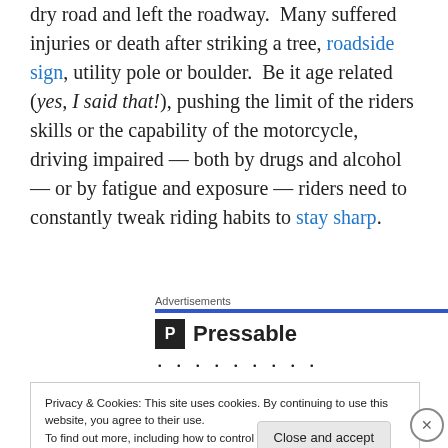dry road and left the roadway. Many suffered injuries or death after striking a tree, roadside sign, utility pole or boulder. Be it age related (yes, I said that!), pushing the limit of the riders skills or the capability of the motorcycle, driving impaired — both by drugs and alcohol — or by fatigue and exposure — riders need to constantly tweak riding habits to stay sharp.
[Figure (other): Advertisements section with Pressable logo (blue bar, P icon, word Pressable, and dots row)]
Privacy & Cookies: This site uses cookies. By continuing to use this website, you agree to their use. To find out more, including how to control cookies, see here: Our Cookie Policy